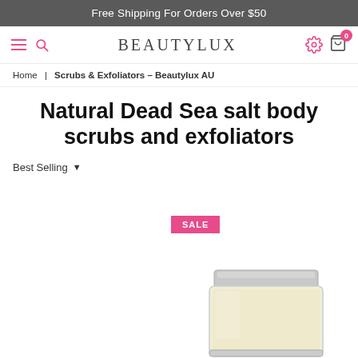Free Shipping For Orders Over $50
[Figure (screenshot): BEAUTYLUX brand logo navigation bar with hamburger menu, search icon, settings icon, and shopping cart with badge showing 0]
Home | Scrubs & Exfoliators – Beautylux AU
Natural Dead Sea salt body scrubs and exfoliators
Best Selling ▾
[Figure (photo): SALE badge in pink and partial product jar image at bottom right of page]